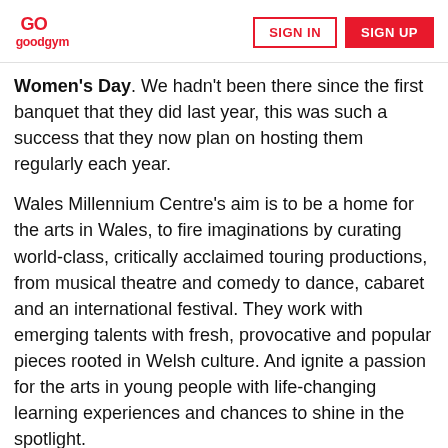goodgym | SIGN IN | SIGN UP
Women's Day. We hadn't been there since the first banquet that they did last year, this was such a success that they now plan on hosting them regularly each year.
Wales Millennium Centre's aim is to be a home for the arts in Wales, to fire imaginations by curating world-class, critically acclaimed touring productions, from musical theatre and comedy to dance, cabaret and an international festival. They work with emerging talents with fresh, provocative and popular pieces rooted in Welsh culture. And ignite a passion for the arts in young people with life-changing learning experiences and chances to shine in the spotlight.
Today is all about Inspirational Women and the local communities, over 200 invited people would be coming to the Centre for a banquet provided with the help of Oasis, another wonderful charity that gives a warm Welsh